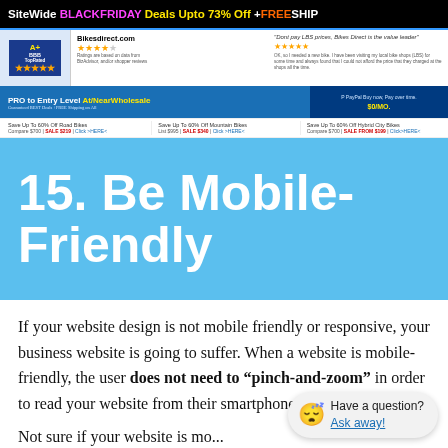[Figure (screenshot): Bikes Direct advertisement banner showing Black Friday deals up to 73% off with free shipping, BBB A+ rating, 4.5 stars, PRO to Entry Level At/Near Wholesale pricing, and links for Road, Mountain, and Hybrid/City bikes.]
15. Be Mobile-Friendly
If your website design is not mobile friendly or responsive, your business website is going to suffer. When a website is mobile-friendly, the user does not need to “pinch-and-zoom” in order to read your website from their smartphones.
Not sure if your website is mo...
[Figure (screenshot): Chat widget bubble showing 'Have a question? Ask away!']